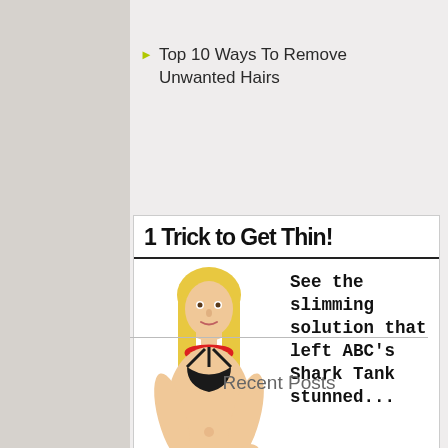Top 10 Ways To Remove Unwanted Hairs
[Figure (illustration): Advertisement banner showing a cartoon woman in a black bikini with text '1 Trick to Get Thin! See the slimming solution that left ABC's Shark Tank stunned...' with a blue arrow button]
Recent Posts